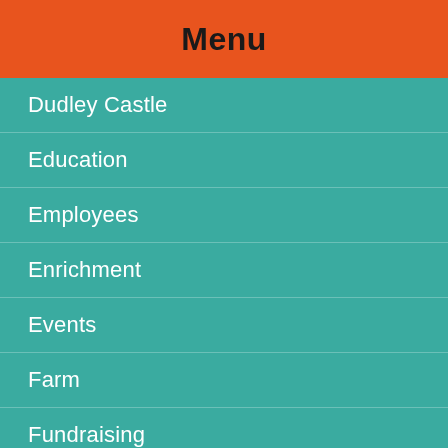Menu
Dudley Castle
Education
Employees
Enrichment
Events
Farm
Fundraising
Gardeners
Health checks
Keeper for a Day
Keepers
Maintenance